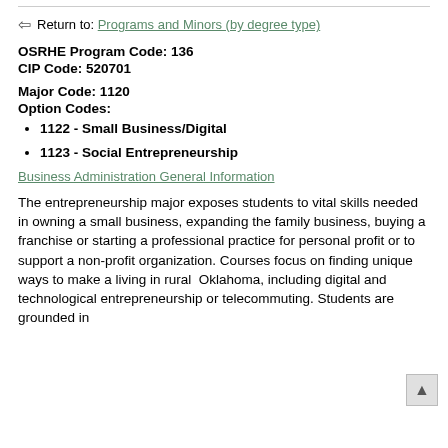Return to: Programs and Minors (by degree type)
OSRHE Program Code: 136
CIP Code: 520701
Major Code: 1120
Option Codes:
1122 - Small Business/Digital
1123 - Social Entrepreneurship
Business Administration General Information
The entrepreneurship major exposes students to vital skills needed in owning a small business, expanding the family business, buying a franchise or starting a professional practice for personal profit or to support a non-profit organization. Courses focus on finding unique ways to make a living in rural Oklahoma, including digital and technological entrepreneurship or telecommuting. Students are grounded in